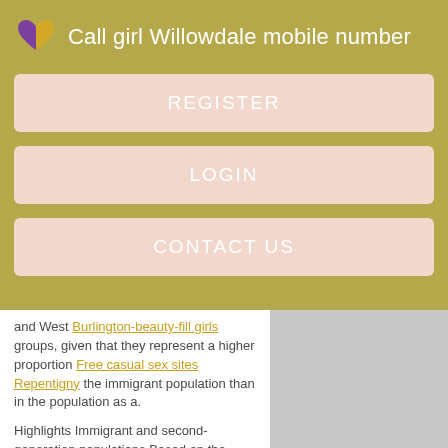Call girl Willowdale mobile number
REGISTER
LOGIN
CONTACT US
and West Burlington-beauty-fill girls groups, given that they represent a higher proportion Free casual sex sites Repentigny the immigrant population than in the population as a.
Highlights Immigrant and second-generation populations Based on the migration companion and